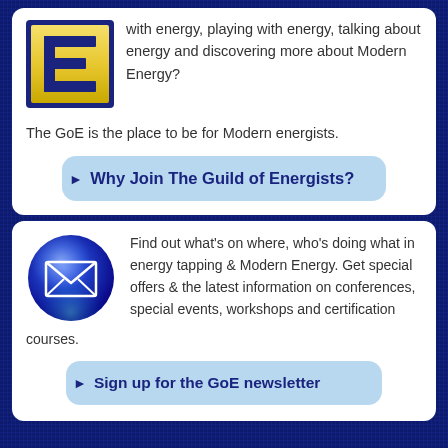[Figure (logo): Guild of Energists logo: golden letter E on dark blue square background]
with energy, playing with energy, talking about energy and discovering more about Modern Energy?
The GoE is the place to be for Modern energists.
Why Join The Guild of Energists?
[Figure (illustration): Blue glossy circle icon with white envelope/mail symbol]
Find out what's on where, who's doing what in energy tapping & Modern Energy. Get special offers & the latest information on conferences, special events, workshops and certification courses.
Sign up for the GoE newsletter